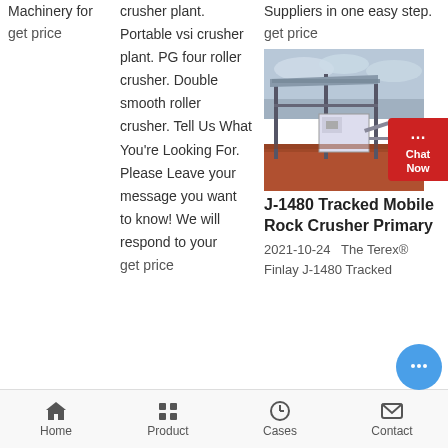Machinery for
get price
crusher plant. Portable vsi crusher plant. PG four roller crusher. Double smooth roller crusher. Tell Us What You're Looking For. Please Leave your message you want to know! We will respond to your
get price
Suppliers in one easy step.
get price
[Figure (photo): Industrial steel frame structure / crusher plant equipment on red earth site with cloudy sky]
J-1480 Tracked Mobile Rock Crusher Primary
2021-10-24   The Terex® Finlay J-1480 Tracked
Home   Product   Cases   Contact